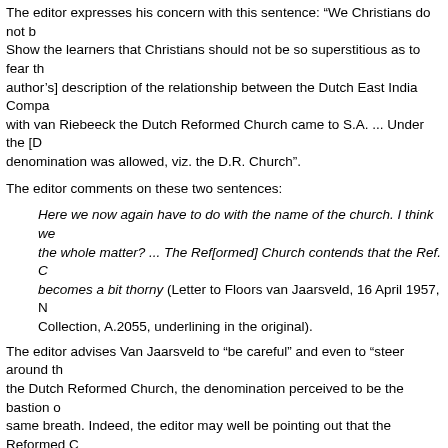The editor expresses his concern with this sentence: "We Christians do not b... Show the learners that Christians should not be so superstitious as to fear th... author's] description of the relationship between the Dutch East India Compa... with van Riebeeck the Dutch Reformed Church came to S.A. ... Under the [D... denomination was allowed, viz. the D.R. Church".
The editor comments on these two sentences:
Here we now again have to do with the name of the church. I think we... the whole matter? ... The Ref[ormed] Church contends that the Ref. C... becomes a bit thorny (Letter to Floors van Jaarsveld, 16 April 1957, N... Collection, A.2055, underlining in the original).
The editor advises Van Jaarsveld to "be careful" and even to "steer around th... the Dutch Reformed Church, the denomination perceived to be the bastion o... same breath. Indeed, the editor may well be pointing out that the Reformed C... Reformed Church (Nederduits Gereformeede) as the first church in South Afri... face value, Van Jaarsveld's original text would draw criticism from education... Riebeeck placed the Dutch Reformed Church in a subordinate role.
These examples illustrate a publisher's in-house measure to avoid friction wi... costly rejection. However, the likelihood exists that the authors of textbooks w... writing but as in-house censorship. This censorious and conservative trend s... apartheid. The Department of Education and Culture (DEC), a national body... explanatory letter in December 1988. Addressing a textbook author, the DEC... manuscript] have been treated in a manner that is causing dissatisfaction to r... are being upheld by the Department". It seems that religion was a sensitive c... maintaining the principles of the National Education Policy Act of 1967, which... publishers came to rely on authors who were known to be sympathetic to Afri... 93; Proctor & Monteith, 1993:37).